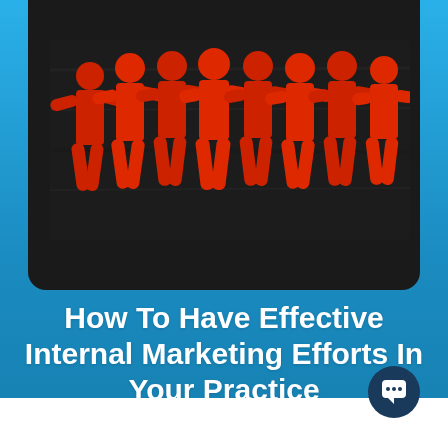[Figure (photo): Red paper cutout figures of people holding hands in a chain, arranged on a dark wooden background. Eight figures total, viewed from the front.]
How To Have Effective Internal Marketing Efforts In Your Practice
Brian Gallagher  |  May 2, 2019